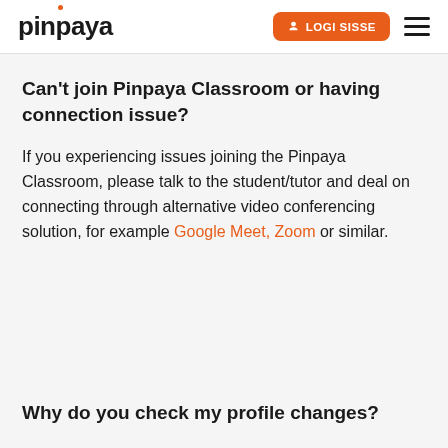pinpaya | LOGI SISSE
Can't join Pinpaya Classroom or having connection issue?
If you experiencing issues joining the Pinpaya Classroom, please talk to the student/tutor and deal on connecting through alternative video conferencing solution, for example Google Meet, Zoom or similar.
Why do you check my profile changes?